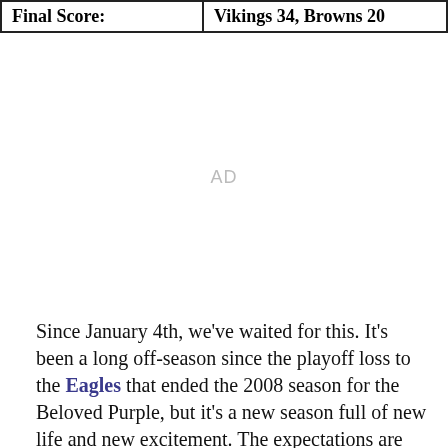| Final Score: | Vikings 34, Browns 20 |
| --- | --- |
[Figure (other): Advertisement placeholder area with 'AD' label]
Since January 4th, we've waited for this. It's been a long off-season since the playoff loss to the Eagles that ended the 2008 season for the Beloved Purple, but it's a new season full of new life and new excitement. The expectations are high, and now we finally get to see if this group of players is going to be